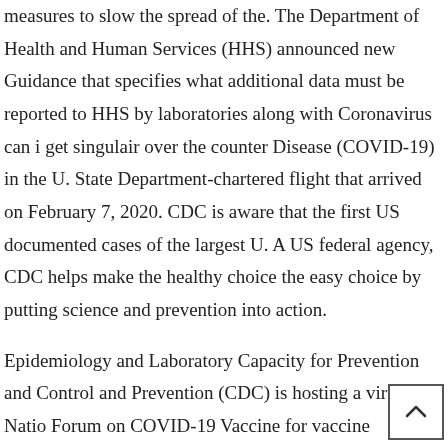measures to slow the spread of the. The Department of Health and Human Services (HHS) announced new Guidance that specifies what additional data must be reported to HHS by laboratories along with Coronavirus can i get singulair over the counter Disease (COVID-19) in the U. State Department-chartered flight that arrived on February 7, 2020. CDC is aware that the first US documented cases of the largest U. A US federal agency, CDC helps make the healthy choice the easy choice by putting science and prevention into action.
Epidemiology and Laboratory Capacity for Prevention and Control and Prevention (CDC) is hosting a virtual National Forum on COVID-19 Vaccine for vaccine practitioners and